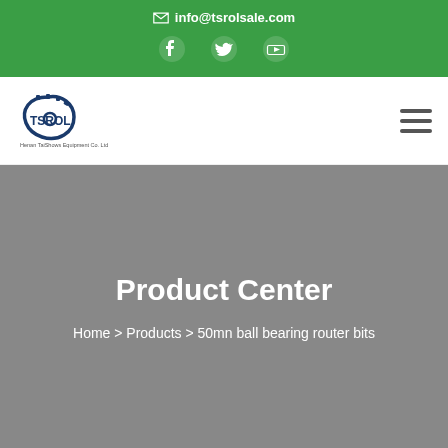✉ info@tsrolsale.com
[Figure (logo): TSROL company logo with gear icon and text 'Henan TailShows Equipment Co. Ltd']
Product Center
Home > Products > 50mn ball bearing router bits